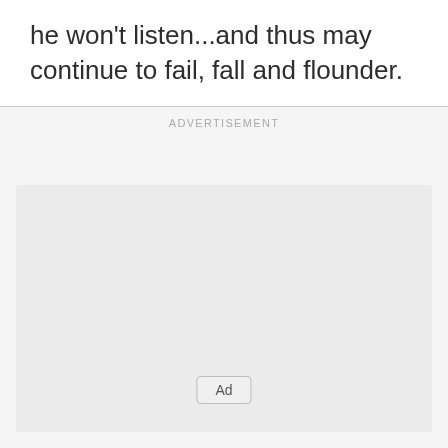he won't listen...and thus may continue to fail, fall and flounder.
[Figure (other): Advertisement placeholder box with 'ADVERTISEMENT' label above and an 'Ad' button near the bottom center of the gray box.]